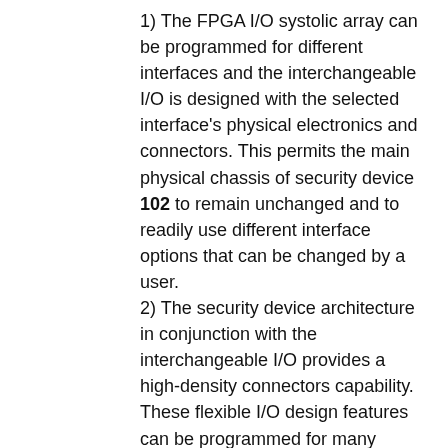1) The FPGA I/O systolic array can be programmed for different interfaces and the interchangeable I/O is designed with the selected interface's physical electronics and connectors. This permits the main physical chassis of security device 102 to remain unchanged and to readily use different interface options that can be changed by a user.
2) The security device architecture in conjunction with the interchangeable I/O provides a high-density connectors capability. These flexible I/O design features can be programmed for many different types of interfaces to maximize interfacing flexibility to an end network application.
3) Scalable performance in programmable specified data rate increments for each cryptographic module up to, e.g., six modules which will have up to six times the programmed full duplex data rates. Other lesser or greater